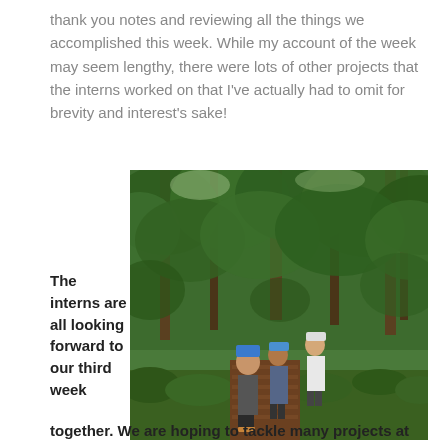thank you notes and reviewing all the things we accomplished this week. While my account of the week may seem lengthy, there were lots of other projects that the interns worked on that I've actually had to omit for brevity and interest's sake!
[Figure (photo): Three people (interns) standing on a wooden boardwalk path through a lush green forest.]
The interns are all looking forward to our third week together. We are hoping to tackle many projects at